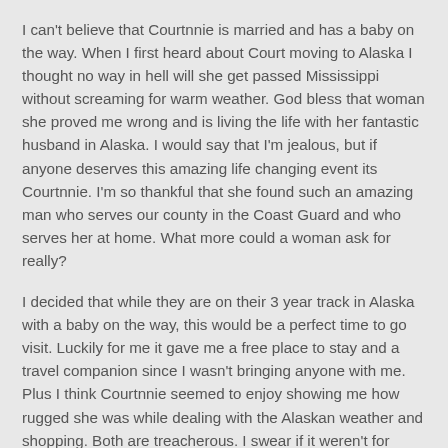I can't believe that Courtnnie is married and has a baby on the way. When I first heard about Court moving to Alaska I thought no way in hell will she get passed Mississippi without screaming for warm weather. God bless that woman she proved me wrong and is living the life with her fantastic husband in Alaska. I would say that I'm jealous, but if anyone deserves this amazing life changing event its Courtnnie. I'm so thankful that she found such an amazing man who serves our county in the Coast Guard and who serves her at home. What more could a woman ask for really?
I decided that while they are on their 3 year track in Alaska with a baby on the way, this would be a perfect time to go visit. Luckily for me it gave me a free place to stay and a travel companion since I wasn't bringing anyone with me. Plus I think Courtnnie seemed to enjoy showing me how rugged she was while dealing with the Alaskan weather and shopping. Both are treacherous. I swear if it weren't for Walmart and McDonalds you could just about assume that you were on another planet.